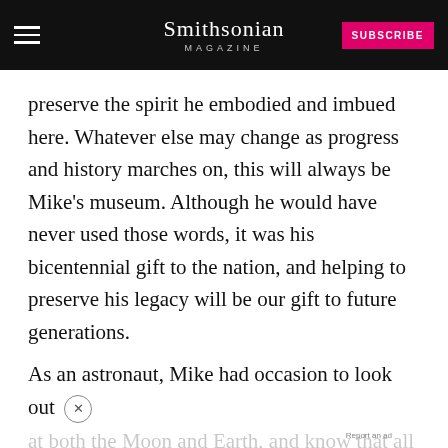Smithsonian MAGAZINE | SUBSCRIBE
preserve the spirit he embodied and imbued here. Whatever else may change as progress and history marches on, this will always be Mike's museum. Although he would have never used those words, it was his bicentennial gift to the nation, and helping to preserve his legacy will be our gift to future generations.
As an astronaut, Mike had occasion to look out at both the Moon and Earth, and know that all of hu... forward field of view. As we move on without
[Figure (other): Quaker Museum Day advertisement banner: YOU COULD WIN A MUSEUM FIELD TRIP TO D.C. with Learn More button]